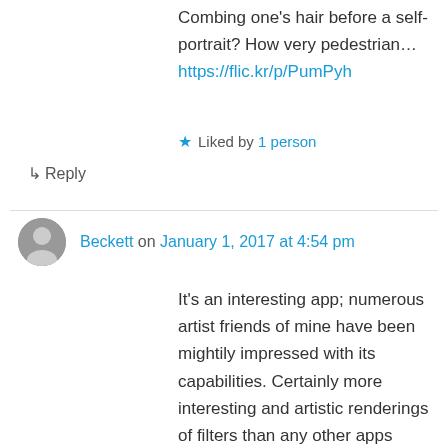Combing one's hair before a self-portrait? How very pedestrian…https://flic.kr/p/PumPyh
★ Liked by 1 person
↳ Reply
Beckett on January 1, 2017 at 4:54 pm
It's an interesting app; numerous artist friends of mine have been mightily impressed with its capabilities. Certainly more interesting and artistic renderings of filters than any other apps we've seen. I confess I've been tempted to try it but have actively avoided getting it. I keep feeling like it's cheating somehow when I can draw for myself. Decisions about where and how and what to emphasize and such other artistic